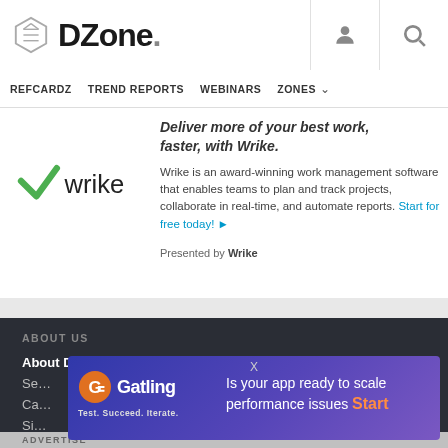DZone. [navigation icons]
REFCARDZ   TREND REPORTS   WEBINARS   ZONES
[Figure (logo): Wrike logo with green checkmark]
Deliver more of your best work, faster, with Wrike. Wrike is an award-winning work management software that enables teams to plan and track projects, collaborate in real-time, and automate reports. Start for free today! ▶
Presented by Wrike
ABOUT US
About DZone
Se...
Ca...
Si...
[Figure (screenshot): Gatling advertisement banner: Is your app ready to scale performance issues Start — with Gatling logo, Test. Succeed. Iterate. tagline]
ADVERTISE